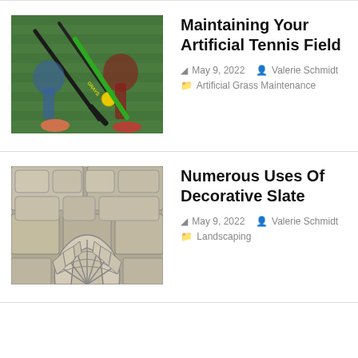[Figure (photo): Field hockey players on artificial green grass, close-up of sticks and ball]
Maintaining Your Artificial Tennis Field
May 9, 2022  Valerie Schmidt  Artificial Grass Maintenance
[Figure (photo): Decorative slate stone tiles arranged in a fan/arc pattern on a paved surface]
Numerous Uses Of Decorative Slate
May 9, 2022  Valerie Schmidt  Landscaping